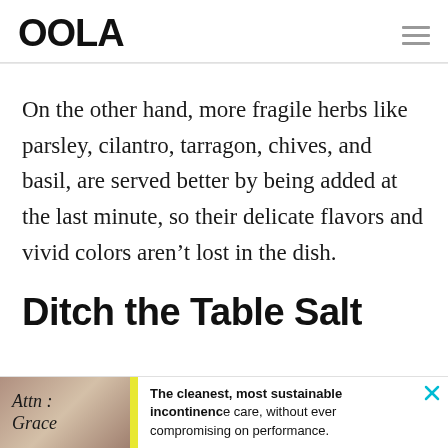OOLA
On the other hand, more fragile herbs like parsley, cilantro, tarragon, chives, and basil, are served better by being added at the last minute, so their delicate flavors and vivid colors aren’t lost in the dish.
Ditch the Table Salt
[Figure (other): Advertisement banner at bottom of page showing an image of a person, text 'Attn : Grace', a yellow accent stripe, and ad copy reading 'The cleanest, most sustainable incontinence care, without ever compromising on performance.' with a close (x) button.]